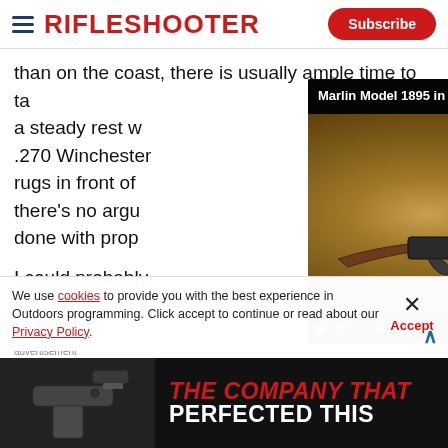RIFLESHOOTER — Subscribe
than on the coast, there is usually ample time to take a steady rest while acquiring offhand killing shot. The .270 Winchester rugs in front of there's no argument done with proper
[Figure (screenshot): Embedded video player showing Marlin Model 1895 in .444 Marlin. Video thumbnail shows a lever-action rifle on a fur background. Controls show 00:00 / 02:41.]
I could probably to 2,000 feet with the Nosler 160-grain Partition, but the
We use cookies to provide you with the best experience in Outdoors programming. Click accept to continue or read about our Privacy Policy.
[Figure (photo): Advertisement banner showing a handgun on dark background with text THE COMPANY THAT PERFECTED THIS]